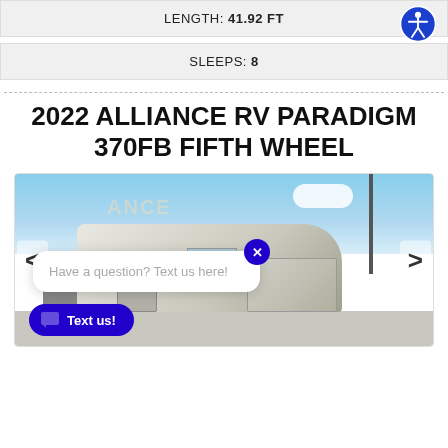LENGTH: 41.92 FT
SLEEPS: 8
2022 ALLIANCE RV PARADIGM 370FB FIFTH WHEEL
[Figure (photo): Photo of a 2022 Alliance RV Paradigm 370FB Fifth Wheel trailer in an outdoor lot, showing the side profile with slides out. A chat widget overlay is visible with the message 'Have a question? Text us here!' and a 'Text us!' button.]
Have a question? Text us here!
Text us!